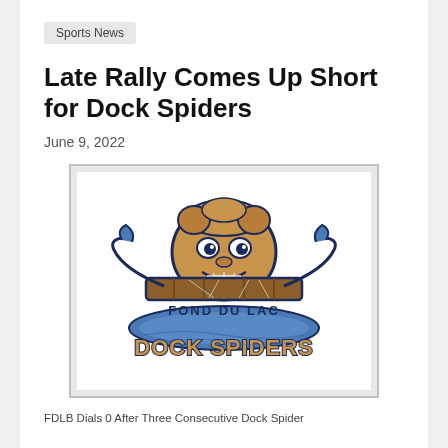Sports News
Late Rally Comes Up Short for Dock Spiders
June 9, 2022
[Figure (logo): Fond du Lac Dock Spiders team logo featuring a menacing spider creature gripping a dock plank, with text 'FOND DU LAC' above and 'DOCK SPIDERS' below in stylized lettering]
FDLB Dials 0 After Three Consecutive Dock Spider